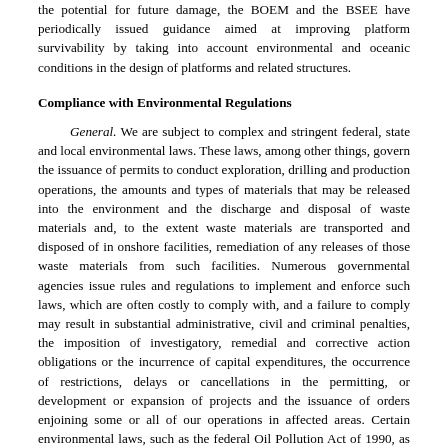the potential for future damage, the BOEM and the BSEE have periodically issued guidance aimed at improving platform survivability by taking into account environmental and oceanic conditions in the design of platforms and related structures.
Compliance with Environmental Regulations
General. We are subject to complex and stringent federal, state and local environmental laws. These laws, among other things, govern the issuance of permits to conduct exploration, drilling and production operations, the amounts and types of materials that may be released into the environment and the discharge and disposal of waste materials and, to the extent waste materials are transported and disposed of in onshore facilities, remediation of any releases of those waste materials from such facilities. Numerous governmental agencies issue rules and regulations to implement and enforce such laws, which are often costly to comply with, and a failure to comply may result in substantial administrative, civil and criminal penalties, the imposition of investigatory, remedial and corrective action obligations or the incurrence of capital expenditures, the occurrence of restrictions, delays or cancellations in the permitting, or development or expansion of projects and the issuance of orders enjoining some or all of our operations in affected areas. Certain environmental laws, such as the federal Oil Pollution Act of 1990, as amended (“OPA”) impose strict joint and several liability for environmental contamination, such as may arise in the event of an accidental spill on the OCS, rendering a person liable for environmental